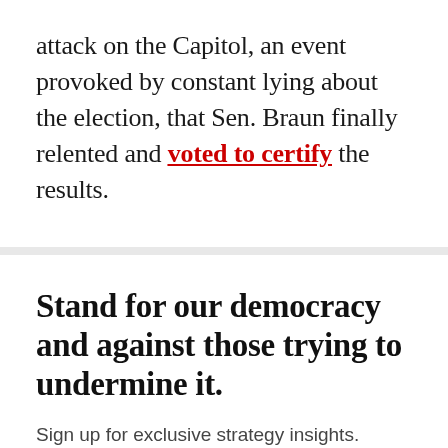attack on the Capitol, an event provoked by constant lying about the election, that Sen. Braun finally relented and voted to certify the results.
Stand for our democracy and against those trying to undermine it.
Sign up for exclusive strategy insights.